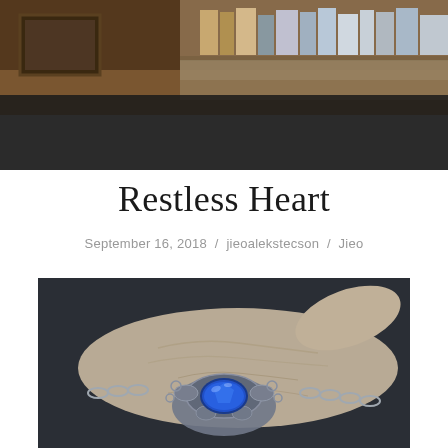[Figure (photo): A header photo showing a dimly lit room interior with shelves, books, and frames visible in a warm brownish tone.]
Restless Heart
September 16, 2018  /  jieoalekstecson  /  Jieo
[Figure (photo): A close-up photo of an elderly hand holding an ornate silver necklace or brooch with a large blue gemstone center.]